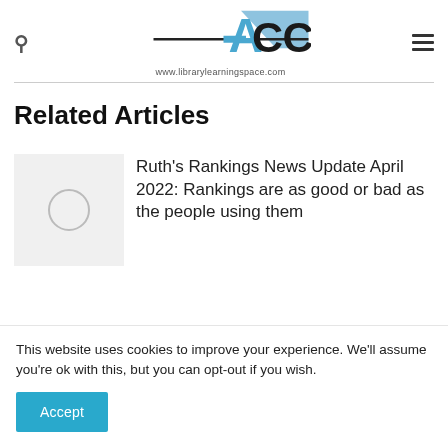ACCESS www.librarylearningspace.com
Related Articles
[Figure (photo): Thumbnail placeholder image with a grey circle on a light grey background]
Ruth's Rankings News Update April 2022: Rankings are as good or bad as the people using them
This website uses cookies to improve your experience. We'll assume you're ok with this, but you can opt-out if you wish.